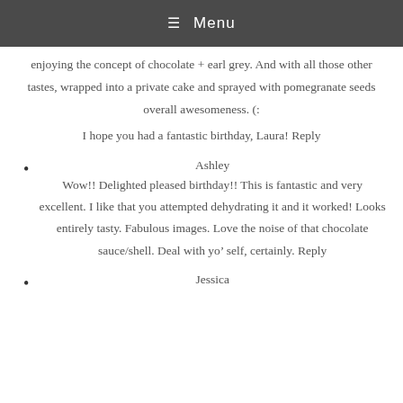≡ Menu
enjoying the concept of chocolate + earl grey. And with all those other tastes, wrapped into a private cake and sprayed with pomegranate seeds overall awesomeness. (:
I hope you had a fantastic birthday, Laura! Reply
Ashley
Wow!! Delighted pleased birthday!! This is fantastic and very excellent. I like that you attempted dehydrating it and it worked! Looks entirely tasty. Fabulous images. Love the noise of that chocolate sauce/shell. Deal with yo' self, certainly. Reply
Jessica